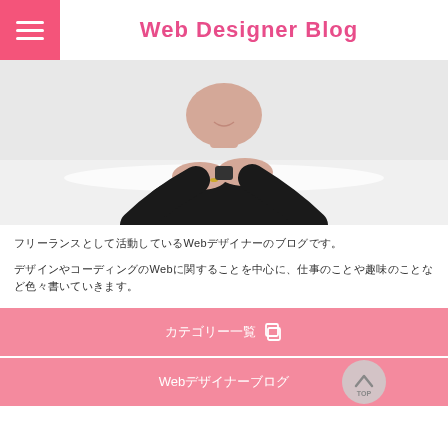Web Designer Blog
[Figure (photo): Person in dark turtleneck sweater sitting at a white table with hands clasped, upper body visible, light gray background]
フリーランスとして活動しているWebデザイナーのブログです。
デザインやコーディングのWebに関することを中心に、仕事のことや趣味のことなど色々書いていきます。
カテゴリー一覧
Webデザイナーブログ